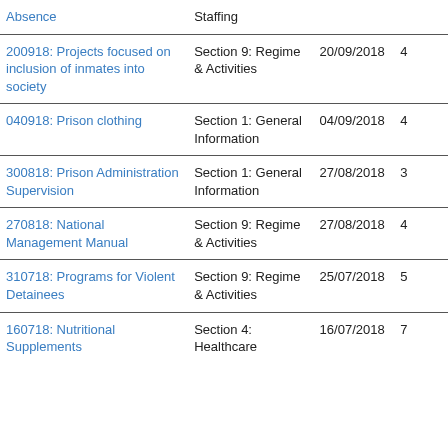| Title | Section | Date | Col4 |
| --- | --- | --- | --- |
| Absence | Staffing |  |  |
| 200918: Projects focused on inclusion of inmates into society | Section 9: Regime & Activities | 20/09/2018 | 4 |
| 040918: Prison clothing | Section 1: General Information | 04/09/2018 | 4 |
| 300818: Prison Administration Supervision | Section 1: General Information | 27/08/2018 | 3 |
| 270818: National Management Manual | Section 9: Regime & Activities | 27/08/2018 | 4 |
| 310718: Programs for Violent Detainees | Section 9: Regime & Activities | 25/07/2018 | 5 |
| 160718: Nutritional Supplements | Section 4: Healthcare | 16/07/2018 | 7 |